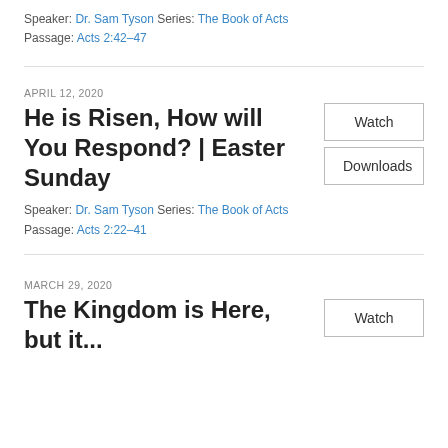Speaker: Dr. Sam Tyson Series: The Book of Acts
Passage: Acts 2:42–47
APRIL 12, 2020
He is Risen, How will You Respond? | Easter Sunday
Speaker: Dr. Sam Tyson Series: The Book of Acts
Passage: Acts 2:22–41
MARCH 29, 2020
The Kingdom is Here, but it...